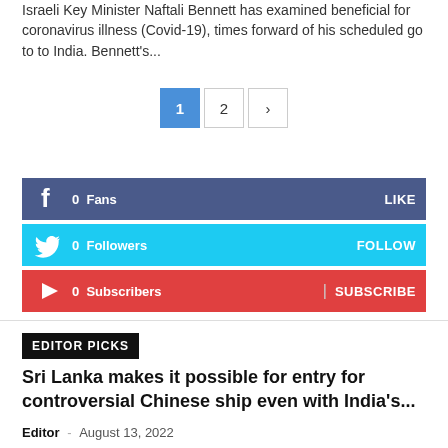Israeli Key Minister Naftali Bennett has examined beneficial for coronavirus illness (Covid-19), times forward of his scheduled go to to India. Bennett's...
1  2  >
f  0  Fans  LIKE
0  Followers  FOLLOW
0  Subscribers  SUBSCRIBE
EDITOR PICKS
Sri Lanka makes it possible for entry for controversial Chinese ship even with India's...
Editor - August 13, 2022